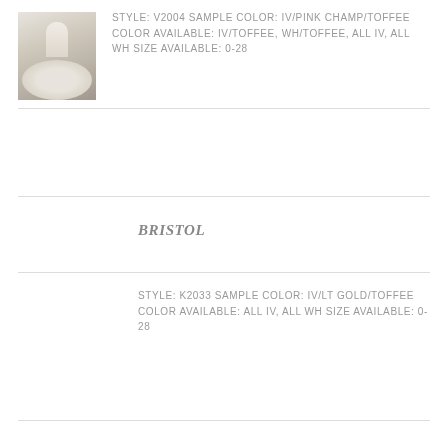[Figure (photo): Wedding dress displayed outdoors on a wooden deck, showing a lace gown with a wide flowing train]
STYLE: V2004 SAMPLE COLOR: IV/PINK CHAMP/TOFFEE COLOR AVAILABLE: IV/TOFFEE, WH/TOFFEE, ALL IV, ALL WH SIZE AVAILABLE: 0-28
BRISTOL
STYLE: K2033 SAMPLE COLOR: IV/LT GOLD/TOFFEE COLOR AVAILABLE: ALL IV, ALL WH SIZE AVAILABLE: 0-28